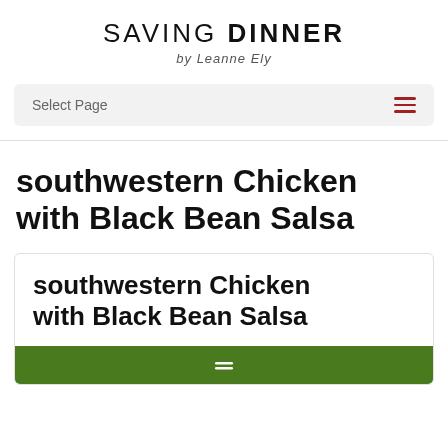SAVING DINNER by Leanne Ely
Select Page
southwestern Chicken with Black Bean Salsa
southwestern Chicken with Black Bean Salsa